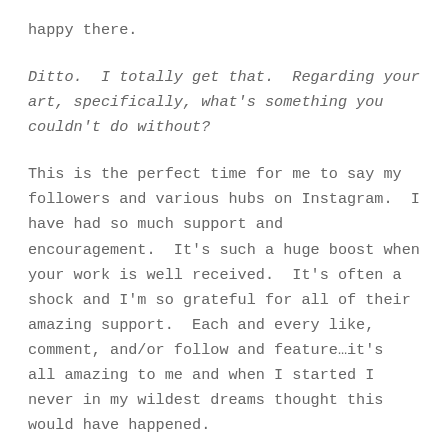happy there.
Ditto. I totally get that. Regarding your art, specifically, what's something you couldn't do without?
This is the perfect time for me to say my followers and various hubs on Instagram. I have had so much support and encouragement. It's such a huge boost when your work is well received. It's often a shock and I'm so grateful for all of their amazing support. Each and every like, comment, and/or follow and feature…it's all amazing to me and when I started I never in my wildest dreams thought this would have happened.